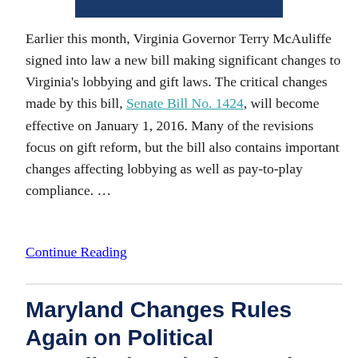[Figure (other): Dark navy blue horizontal bar at top center of page]
Earlier this month, Virginia Governor Terry McAuliffe signed into law a new bill making significant changes to Virginia's lobbying and gift laws. The critical changes made by this bill, Senate Bill No. 1424, will become effective on January 1, 2016. Many of the revisions focus on gift reform, but the bill also contains important changes affecting lobbying as well as pay-to-play compliance. …
Continue Reading
Maryland Changes Rules Again on Political Contribution Disclosure by Government